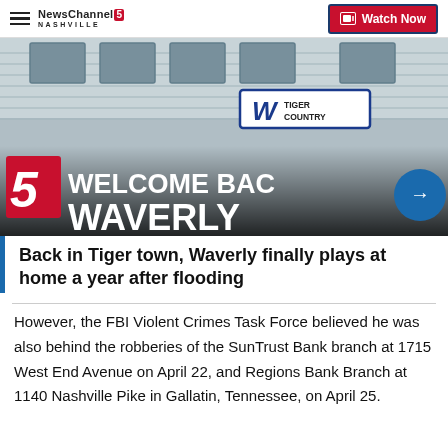NewsChannel 5 Nashville — Watch Now
[Figure (photo): Photo of a school building with 'Tiger Country' sign overlaid with 'Welcome Back Waverly' text graphic and NewsChannel 5 logo badge]
Back in Tiger town, Waverly finally plays at home a year after flooding
However, the FBI Violent Crimes Task Force believed he was also behind the robberies of the SunTrust Bank branch at 1715 West End Avenue on April 22, and Regions Bank Branch at 1140 Nashville Pike in Gallatin, Tennessee, on April 25.